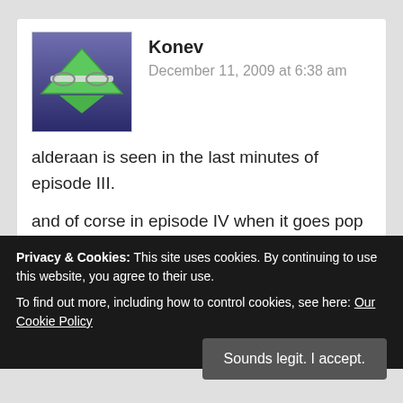[Figure (illustration): Avatar image: cartoon face (inverted green triangle with glasses and open mouth) on blue-purple gradient background]
Konev
December 11, 2009 at 6:38 am
alderaan is seen in the last minutes of episode III.

and of corse in episode IV when it goes pop :D
rubbish
Privacy & Cookies: This site uses cookies. By continuing to use this website, you agree to their use.
To find out more, including how to control cookies, see here: Our Cookie Policy
Sounds legit. I accept.